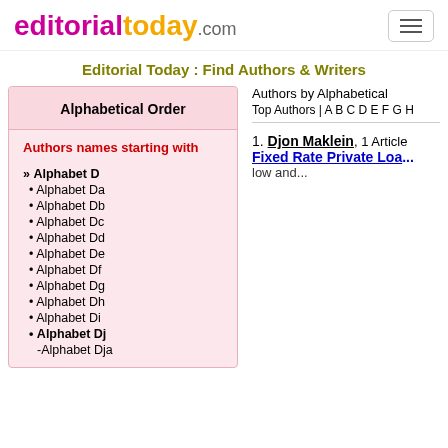editorialtoday.com
Editorial Today : Find Authors & Writers
Alphabetical Order
Authors names starting with
» Alphabet D
• Alphabet Da
• Alphabet Db
• Alphabet Dc
• Alphabet Dd
• Alphabet De
• Alphabet Df
• Alphabet Dg
• Alphabet Dh
• Alphabet Di
• Alphabet Dj
-Alphabet Dja
Authors by Alphabetical
Top Authors | A B C D E F G H
1. Djon Maklein, 1 Article
Fixed Rate Private Loa...
low and...